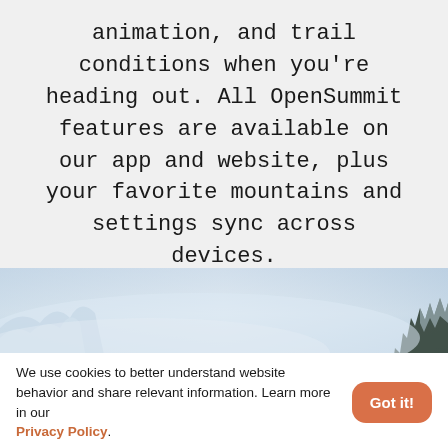animation, and trail conditions when you're heading out. All OpenSummit features are available on our app and website, plus your favorite mountains and settings sync across devices.
[Figure (photo): Misty winter mountain landscape with snow-covered trees and foggy blue-white sky, partial view cropped to a horizontal band]
We use cookies to better understand website behavior and share relevant information. Learn more in our Privacy Policy.